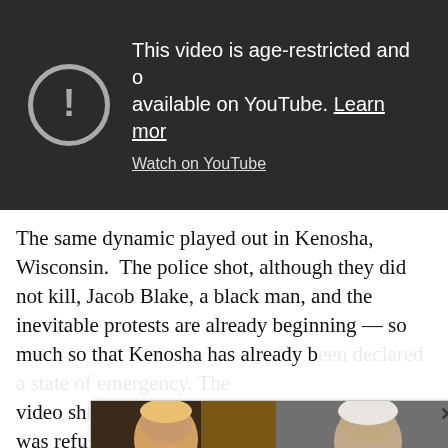[Figure (screenshot): YouTube age-restricted video warning screen on dark background. Shows a circle exclamation icon and text: 'This video is age-restricted and only available on YouTube. Learn more' with a 'Watch on YouTube' link.]
The same dynamic played out in Kenosha, Wisconsin. The police shot, although they did not kill, Jacob Blake, a black man, and the inevitable protests are already beginning — so much so that Kenosha has already [obscured by ad overlay] ...video sh[obscured] ...ispute was refu[obscured] ...respond to being [obscured] ...where he could ea[obscured] ...ke a
[Figure (screenshot): Ad overlay panel with two sponsored content thumbnails side by side. Left: 'Dems Raid Mar-A-Lago when They Should b...' sourced from 'Infected'. Right: 'A Tragic End Today For Willie Nelson' sourced from 'Breaking News'. There is an X close button at top right.]